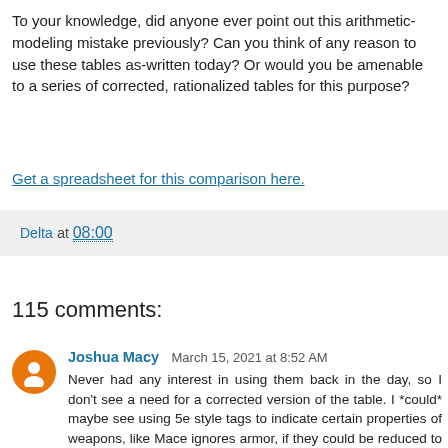To your knowledge, did anyone ever point out this arithmetic-modeling mistake previously? Can you think of any reason to use these tables as-written today? Or would you be amenable to a series of corrected, rationalized tables for this purpose?
Get a spreadsheet for this comparison here.
Delta at 08:00
115 comments:
Joshua Macy  March 15, 2021 at 8:52 AM
Never had any interest in using them back in the day, so I don't see a need for a corrected version of the table. I *could* maybe see using 5e style tags to indicate certain properties of weapons, like Mace ignores armor, if they could be reduced to just a few. But I've tried a couple times myself to create something that gave players the incentive to "naturally" choose the historically appropriate weapon that troops used at various periods when different types of